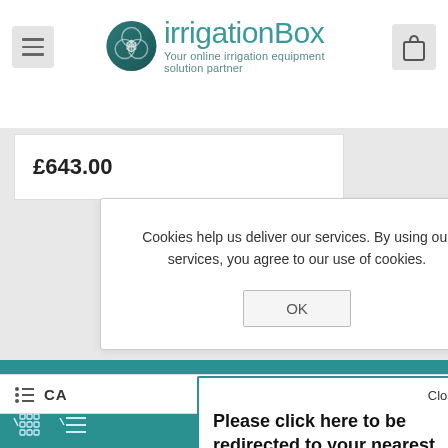[Figure (logo): irrigationBox logo with teal circle icon and text 'irrigationBox' with tagline 'Your online irrigation equipment solution partner']
£643.00
Cookies help us deliver our services. By using our services, you agree to our use of cookies.
OK
Close
Please click here to be redirected to your nearest store and get the best deals!
NEWSLETTER
FILTERS